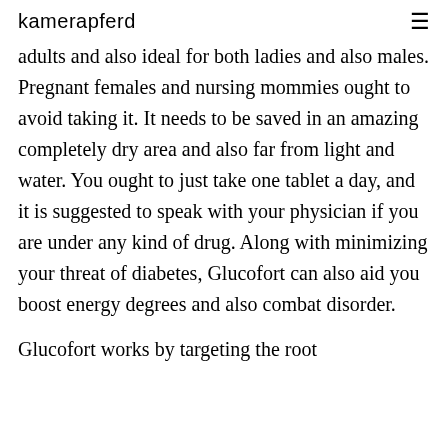kamerapferd
adults and also ideal for both ladies and also males. Pregnant females and nursing mommies ought to avoid taking it. It needs to be saved in an amazing completely dry area and also far from light and water. You ought to just take one tablet a day, and it is suggested to speak with your physician if you are under any kind of drug. Along with minimizing your threat of diabetes, Glucofort can also aid you boost energy degrees and also combat disorder.
Glucofort works by targeting the root